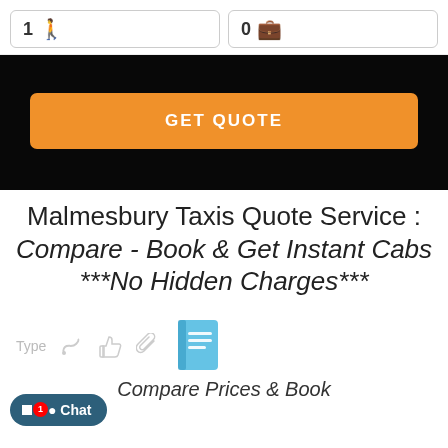[Figure (screenshot): Two input fields: '1 person icon' and '0 luggage icon' in white rounded boxes]
[Figure (screenshot): Orange GET QUOTE button on dark background]
Malmesbury Taxis Quote Service : Compare - Book & Get Instant Cabs ***No Hidden Charges***
[Figure (infographic): Booking icons: thumbs up, paperclip, and a blue book/notebook icon. Below: 'Compare Prices & Book' label and a 'Type' label row.]
[Figure (screenshot): Chat button in bottom left with notification badge showing '1']